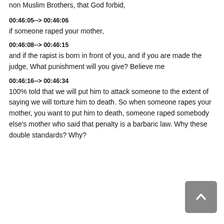non Muslim Brothers, that God forbid,
00:46:05--> 00:46:06
if someone raped your mother,
00:46:08--> 00:46:15
and if the rapist is born in front of you, and if you are made the judge, What punishment will you give? Believe me
00:46:16--> 00:46:34
100% told that we will put him to attack someone to the extent of saying we will torture him to death. So when someone rapes your mother, you want to put him to death, someone raped somebody else's mother who said that penalty is a barbaric law. Why these double standards? Why?